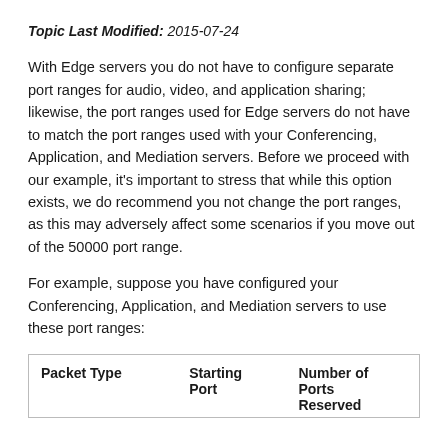Topic Last Modified: 2015-07-24
With Edge servers you do not have to configure separate port ranges for audio, video, and application sharing; likewise, the port ranges used for Edge servers do not have to match the port ranges used with your Conferencing, Application, and Mediation servers. Before we proceed with our example, it's important to stress that while this option exists, we do recommend you not change the port ranges, as this may adversely affect some scenarios if you move out of the 50000 port range.
For example, suppose you have configured your Conferencing, Application, and Mediation servers to use these port ranges:
| Packet Type | Starting Port | Number of Ports Reserved |
| --- | --- | --- |